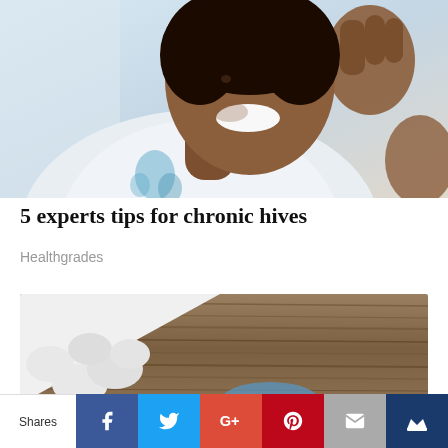[Figure (photo): Smiling Black woman in a white robe touching her face/head, light blue and white background]
5 experts tips for chronic hives
Healthgrades
[Figure (photo): Pills on a white plate with a rustic wooden surface in the background]
Shares